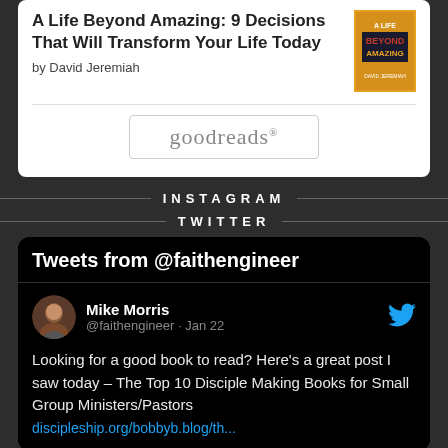A Life Beyond Amazing: 9 Decisions That Will Transform Your Life Today
by David Jeremiah
[Figure (logo): goodreads logo in a rounded rectangle box]
INSTAGRAM
TWITTER
Tweets from @faithengineer
Mike Morris @faithengineer · Jan 22
Looking for a good book to read? Here's a great post I saw today – The Top 10 Disciple Making Books for Small Group Ministers/Pastors